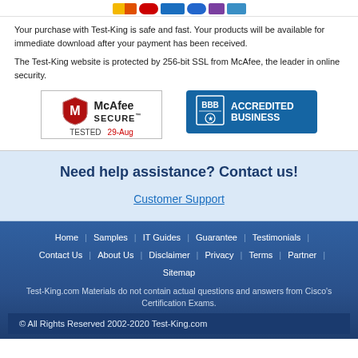[Figure (logo): Payment method icons row (partial, cropped at top)]
Your purchase with Test-King is safe and fast. Your products will be available for immediate download after your payment has been received.
The Test-King website is protected by 256-bit SSL from McAfee, the leader in online security.
[Figure (logo): McAfee SECURE badge - TESTED 29-Aug]
[Figure (logo): BBB Accredited Business badge]
Need help assistance? Contact us!
Customer Support
Home | Samples | IT Guides | Guarantee | Testimonials | Contact Us | About Us | Disclaimer | Privacy | Terms | Partner | Sitemap
Test-King.com Materials do not contain actual questions and answers from Cisco's Certification Exams.
© All Rights Reserved 2002-2020 Test-King.com